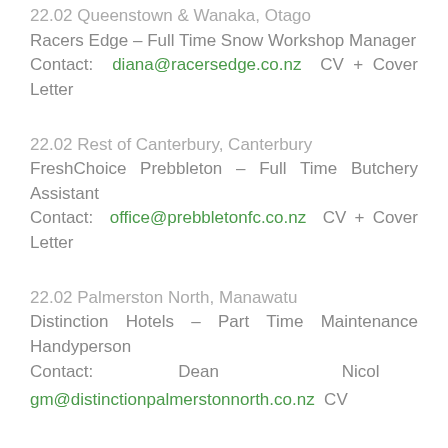22.02 Queenstown & Wanaka, Otago
Racers Edge – Full Time Snow Workshop Manager
Contact: diana@racersedge.co.nz CV + Cover Letter
22.02 Rest of Canterbury, Canterbury
FreshChoice Prebbleton – Full Time Butchery Assistant
Contact: office@prebbletonfc.co.nz CV + Cover Letter
22.02 Palmerston North, Manawatu
Distinction Hotels – Part Time Maintenance Handyperson
Contact: Dean Nicol gm@distinctionpalmerstonnorth.co.nz CV